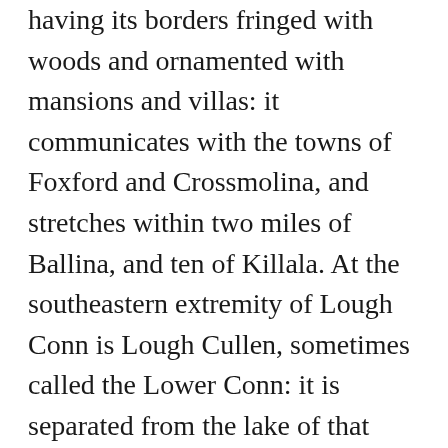having its borders fringed with woods and ornamented with mansions and villas: it communicates with the towns of Foxford and Crossmolina, and stretches within two miles of Ballina, and ten of Killala. At the southeastern extremity of Lough Conn is Lough Cullen, sometimes called the Lower Conn: it is separated from the lake of that name by a narrow strait, over which a bridge named Pontoon bridge was built, on the formation of the new mail line to Sligo. An extraordinary phenomenon is visible here in the alternate ebbing and flowing of these lakes: the water is seen sometimes rushing with great force through the channel beneath Pontoon bridge into